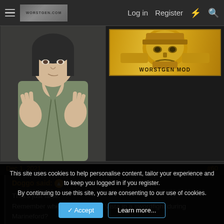Log in  Register
[Figure (illustration): Manga-style character illustration — person in robes with hands raised]
[Figure (illustration): WORSTGEN MOD gold badge with armored face]
Dec 1, 2021   #60
Doggo said: ↑
That's just false.
Remember when Mihawk beat Vista in a swordfight during Marineford?
[Figure (photo): Photo of Obama]
This site uses cookies to help personalise content, tailor your experience and to keep you logged in if you register. By continuing to use this site, you are consenting to our use of cookies.